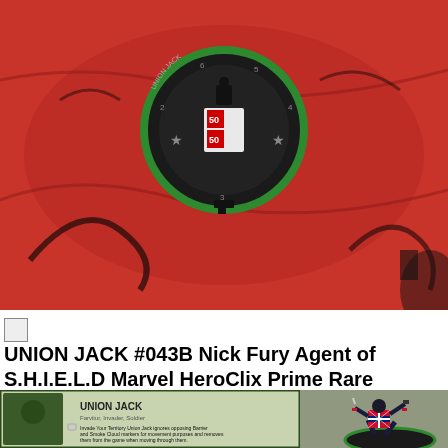[Figure (photo): Top photograph showing a HeroClix game dial/piece on a red comic book art background with black line art, depicting a character on a round dial base with green trim.]
UNION JACK #043B Nick Fury Agent of S.H.I.E.L.D Marvel HeroClix Prime Rare
[Figure (photo): Bottom photograph showing the Union Jack HeroClix figurine in a running pose wearing a Union Jack costume, alongside the character card showing abilities: Invade Your Territory, Silver Bullets and Blade, The Webley or the Shiv, and THE UNION JACK'S BEEN CRACKIN YEARS (Change).]